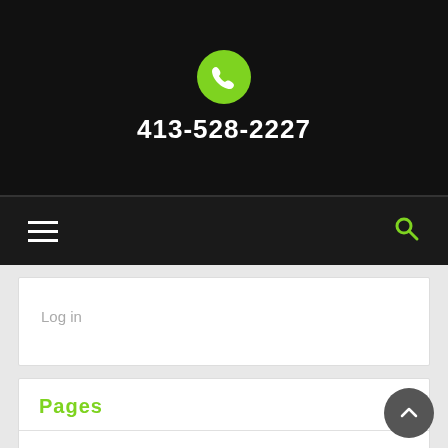413-528-2227
[Figure (screenshot): Navigation bar with hamburger menu icon on left and green search icon on right, on dark background]
Log in
Pages
AFFILIATIONS
CONTACT US